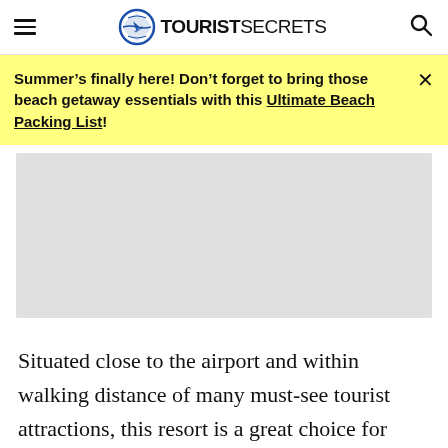TOURISTSECRETS
Summer's finally here! Don't forget to bring those beach getaway essentials with this Ultimate Beach Packing List!
[Figure (photo): Gray placeholder image block representing a resort or travel photo]
Situated close to the airport and within walking distance of many must-see tourist attractions, this resort is a great choice for someone looking for a